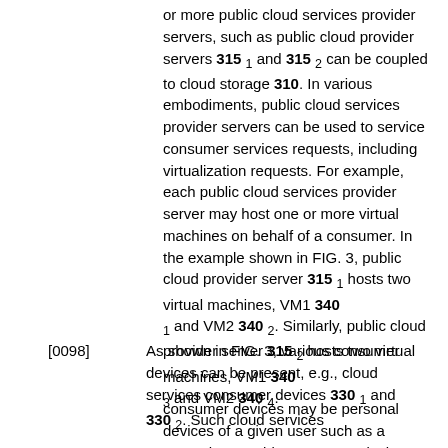or more public cloud services provider servers, such as public cloud provider servers 315 1 and 315 2 can be coupled to cloud storage 310. In various embodiments, public cloud services provider servers can be used to service consumer services requests, including virtualization requests. For example, each public cloud services provider server may host one or more virtual machines on behalf of a consumer. In the example shown in FIG. 3, public cloud provider server 315 1 hosts two virtual machines, VM1 340 1 and VM2 340 2. Similarly, public cloud provider server 315 2 hosts two virtual machines, VM1 340 3 and VM2 340 4.
[0098] As shown in FIG. 3, various consumer devices can be present, e.g., cloud services consumer devices 330 1 and 330 2. Such cloud services consumer devices may be personal devices of a given user such as a smartphone, tablet computer, desktop computer or so forth. Alternatively, cloud services consumer devices